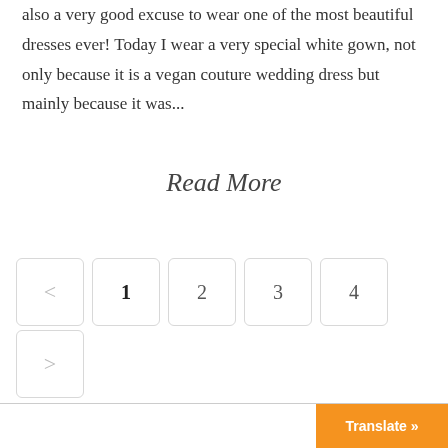also a very good excuse to wear one of the most beautiful dresses ever! Today I wear a very special white gown, not only because it is a vegan couture wedding dress but mainly because it was...
Read More
< 1 2 3 4 >
Translate »